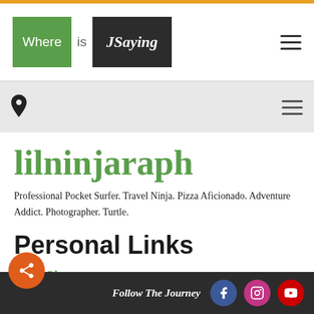Where is JSaying
lilninjaraph
Professional Pocket Surfer. Travel Ninja. Pizza Aficionado. Adventure Addict. Photographer. Turtle.
Personal Links
Travel Blog
Instagram
Follow The Journey